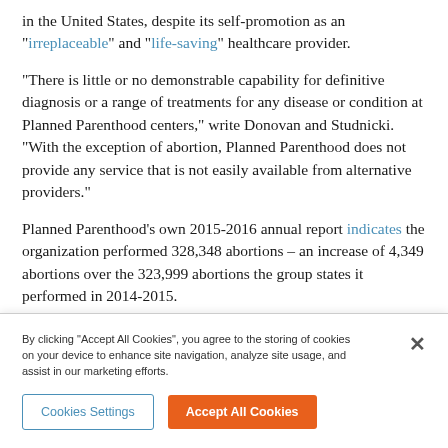in the United States, despite its self-promotion as an "irreplaceable" and "life-saving" healthcare provider.
"There is little or no demonstrable capability for definitive diagnosis or a range of treatments for any disease or condition at Planned Parenthood centers," write Donovan and Studnicki. "With the exception of abortion, Planned Parenthood does not provide any service that is not easily available from alternative providers."
Planned Parenthood's own 2015-2016 annual report indicates the organization performed 328,348 abortions – an increase of 4,349 abortions over the 323,999 abortions the group states it performed in 2014-2015.
The group also reported 2,945,059 contraception services in 2014-2015, and 2,808,815 of the same services in its latest report, a
By clicking "Accept All Cookies", you agree to the storing of cookies on your device to enhance site navigation, analyze site usage, and assist in our marketing efforts.